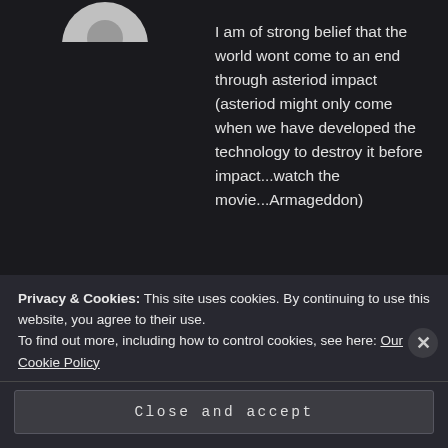[Figure (illustration): Partially cropped circular user avatar (grey) at top left]
I am of strong belief that the world wont come to an end through asteriod impact (asteriod might only come when we have developed the technology to destroy it before impact...watch the movie...Armageddon)
★ Liked by 6 people
[Figure (illustration): Circular user avatar (grey) for MESSEDGE29]
MESSEDGE29 says:
October 27, 2015 at 3:36 pm
Privacy & Cookies: This site uses cookies. By continuing to use this website, you agree to their use.
To find out more, including how to control cookies, see here: Our Cookie Policy
Close and accept